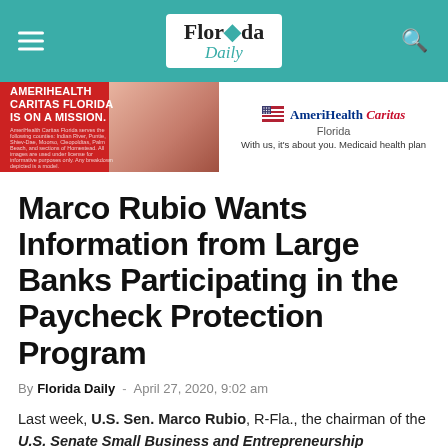Florida Daily
[Figure (illustration): AmeriHealth Caritas Florida advertisement banner with red left side showing text and photo, white right side with logo and tagline]
Marco Rubio Wants Information from Large Banks Participating in the Paycheck Protection Program
By Florida Daily - April 27, 2020, 9:02 am
Last week, U.S. Sen. Marco Rubio, R-Fla., the chairman of the U.S. Senate Small Business and Entrepreneurship